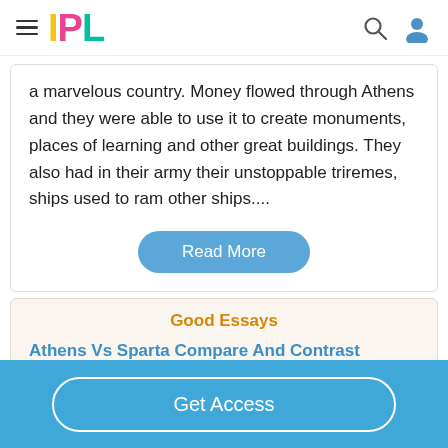IPL
a marvelous country. Money flowed through Athens and they were able to use it to create monuments, places of learning and other great buildings. They also had in their army their unstoppable triremes, ships used to ram other ships....
Read More
Good Essays
Athens Vs Sparta Compare And Contrast
Get Access